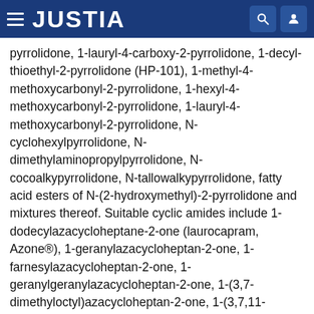JUSTIA
pyrrolidone, 1-lauryl-4-carboxy-2-pyrrolidone, 1-decyl-thioethyl-2-pyrrolidone (HP-101), 1-methyl-4-methoxycarbonyl-2-pyrrolidone, 1-hexyl-4-methoxycarbonyl-2-pyrrolidone, 1-lauryl-4-methoxycarbonyl-2-pyrrolidone, N-cyclohexylpyrrolidone, N-dimethylaminopropylpyrrolidone, N-cocoalkypyrrolidone, N-tallowalkypyrrolidone, fatty acid esters of N-(2-hydroxymethyl)-2-pyrrolidone and mixtures thereof. Suitable cyclic amides include 1-dodecylazacycloheptane-2-one (laurocapram, Azone®), 1-geranylazacycloheptan-2-one, 1-farnesylazacycloheptan-2-one, 1-geranylgeranylazacycloheptan-2-one, 1-(3,7-dimethyloctyl)azacycloheptan-2-one, 1-(3,7,11-trimethyloctyl)azacycloheptan-2-one, 1-geranylazacyclohexane-2-one, 1-geranylazacyclopentan-